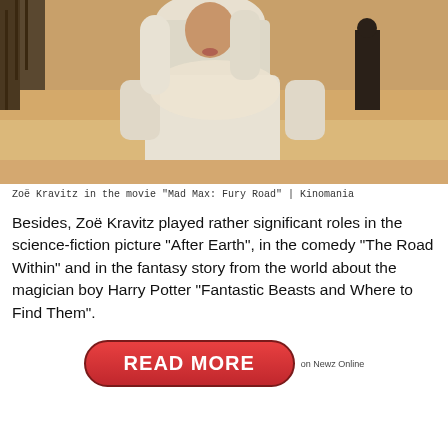[Figure (photo): Zoë Kravitz in a white robe and head wrap standing in a sandy desert landscape, scene from Mad Max: Fury Road]
Zoë Kravitz in the movie "Mad Max: Fury Road" | Kinomania
Besides, Zoë Kravitz played rather significant roles in the science-fiction picture "After Earth", in the comedy "The Road Within" and in the fantasy story from the world about the magician boy Harry Potter "Fantastic Beasts and Where to Find Them".
[Figure (other): Red pill-shaped READ MORE button with text 'on Newz Online' to its right]